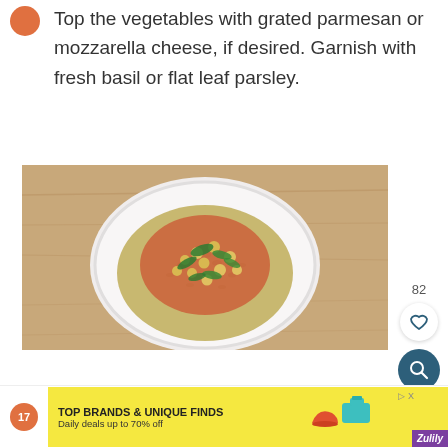Top the vegetables with grated parmesan or mozzarella cheese, if desired. Garnish with fresh basil or flat leaf parsley.
[Figure (photo): Overhead shot of a white bowl filled with quinoa topped with vegetables, chickpeas, tomato sauce, and fresh herbs, placed on a wooden surface.]
82
[Figure (infographic): Advertisement banner: TOP BRANDS & UNIQUE FINDS / Daily deals up to 70% off / Zulily]